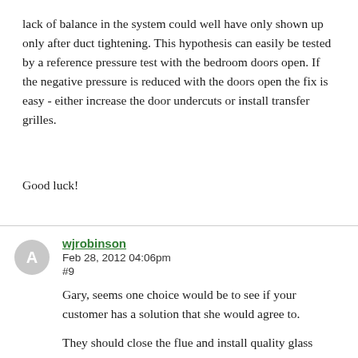lack of balance in the system could well have only shown up only after duct tightening. This hypothesis can easily be tested by a reference pressure test with the bedroom doors open. If the negative pressure is reduced with the doors open the fix is easy - either increase the door undercuts or install transfer grilles.
Good luck!
wjrobinson
Feb 28, 2012 04:06pm
#9
Gary, seems one choice would be to see if your customer has a solution that she would agree to.
They should close the flue and install quality glass